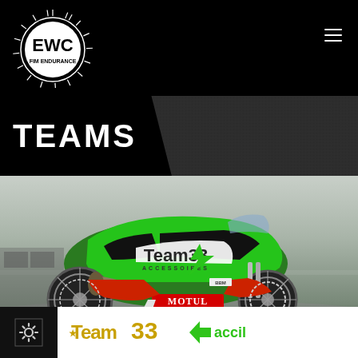[Figure (logo): EWC FIM Endurance World Championship logo — white circular sunburst with EWC text and FIM Endurance underneath]
TEAMS
[Figure (photo): Green and black Kawasaki ZX-10R race motorcycle with Team 33 Accessoires livery, Motul sponsor, on a racing track. French flag in upper right corner.]
[Figure (logo): Team 33 logo and Accell (or similar) green logo in white card strip at bottom]